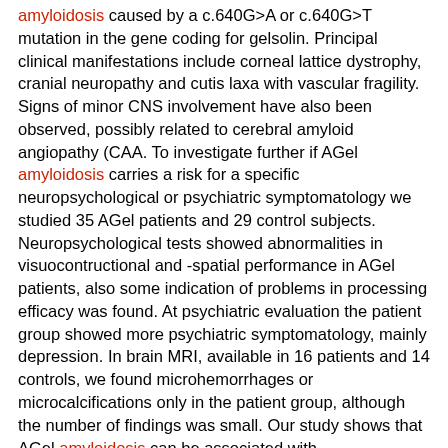amyloidosis caused by a c.640G>A or c.640G>T mutation in the gene coding for gelsolin. Principal clinical manifestations include corneal lattice dystrophy, cranial neuropathy and cutis laxa with vascular fragility. Signs of minor CNS involvement have also been observed, possibly related to cerebral amyloid angiopathy (CAA. To investigate further if AGel amyloidosis carries a risk for a specific neuropsychological or psychiatric symptomatology we studied 35 AGel patients and 29 control subjects. Neuropsychological tests showed abnormalities in visuocontructional and -spatial performance in AGel patients, also some indication of problems in processing efficacy was found. At psychiatric evaluation the patient group showed more psychiatric symptomatology, mainly depression. In brain MRI, available in 16 patients and 14 controls, we found microhemorrhages or microcalcifications only in the patient group, although the number of findings was small. Our study shows that AGel amyloidosis can be associated with visuoconstructional problems and depression, but severe neuropsychiatric involvement is not characteristic. The gelsolin mutation may even induce cerebrovascular fragility, but further epidemiological and histopathological as well as longitudinal follow-up studies are needed to clarify gelsolin-related vascular pathology and its clinical consequences